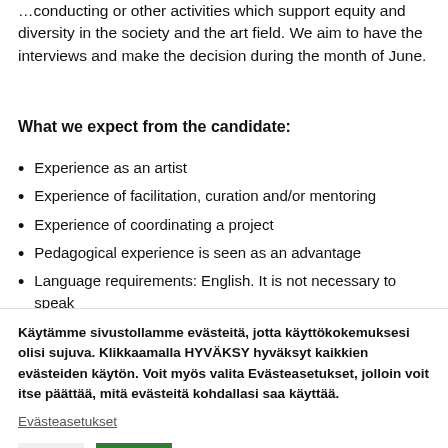…conducting or other activities which support equity and diversity in the society and the art field. We aim to have the interviews and make the decision during the month of June.
What we expect from the candidate:
Experience as an artist
Experience of facilitation, curation and/or mentoring
Experience of coordinating a project
Pedagogical experience is seen as an advantage
Language requirements: English. It is not necessary to speak
Käytämme sivustollamme evästeitä, jotta käyttökokemuksesi olisi sujuva. Klikkaamalla HYVÄKSY hyväksyt kaikkien evästeiden käytön. Voit myös valita Evästeasetukset, jolloin voit itse päättää, mitä evästeitä kohdallasi saa käyttää.
Evästeasetukset
HYLKÄÄ
HYVÄKSY